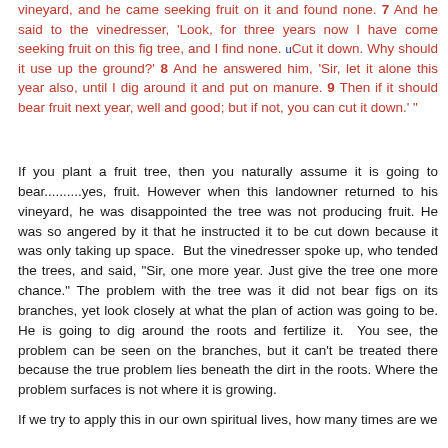vineyard, and he came seeking fruit on it and found none. 7 And he said to the vinedresser, 'Look, for three years now I have come seeking fruit on this fig tree, and I find none. uCut it down. Why should it use up the ground?' 8 And he answered him, 'Sir, let it alone this year also, until I dig around it and put on manure. 9 Then if it should bear fruit next year, well and good; but if not, you can cut it down.' "
If you plant a fruit tree, then you naturally assume it is going to bear..........yes, fruit. However when this landowner returned to his vineyard, he was disappointed the tree was not producing fruit. He was so angered by it that he instructed it to be cut down because it was only taking up space. But the vinedresser spoke up, who tended the trees, and said, "Sir, one more year. Just give the tree one more chance." The problem with the tree was it did not bear figs on its branches, yet look closely at what the plan of action was going to be. He is going to dig around the roots and fertilize it. You see, the problem can be seen on the branches, but it can't be treated there because the true problem lies beneath the dirt in the roots. Where the problem surfaces is not where it is growing.
If we try to apply this in our own spiritual lives, how many times are we